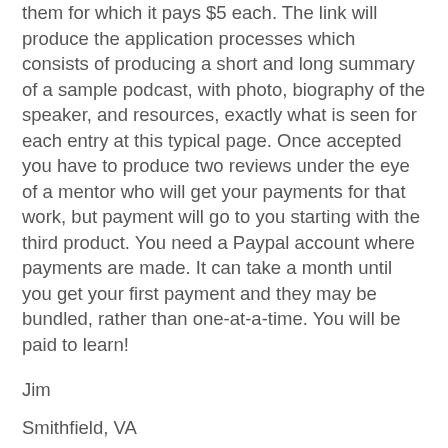them for which it pays $5 each. The link will produce the application processes which consists of producing a short and long summary of a sample podcast, with photo, biography of the speaker, and resources, exactly what is seen for each entry at this typical page. Once accepted you have to produce two reviews under the eye of a mentor who will get your payments for that work, but payment will go to you starting with the third product. You need a Paypal account where payments are made. It can take a month until you get your first payment and they may be bundled, rather than one-at-a-time. You will be paid to learn!
Jim
Smithfield, VA
Luis writes:
Dear TWiVers,